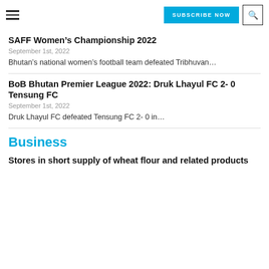SUBSCRIBE NOW
SAFF Women's Championship 2022
September 1st, 2022
Bhutan's national women's football team defeated Tribhuvan...
BoB Bhutan Premier League 2022: Druk Lhayul FC 2- 0 Tensung FC
September 1st, 2022
Druk Lhayul FC defeated Tensung FC 2- 0 in...
Business
Stores in short supply of wheat flour and related products